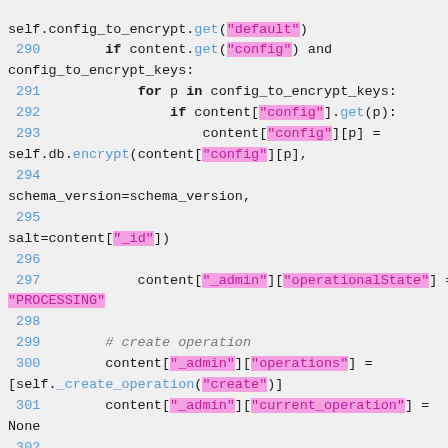[Figure (screenshot): Python source code snippet showing lines 289-305 of a file, with syntax highlighting. Line numbers in blue, string literals highlighted in pink/magenta, method names in blue, keywords in black bold, and a comment in gray italic.]